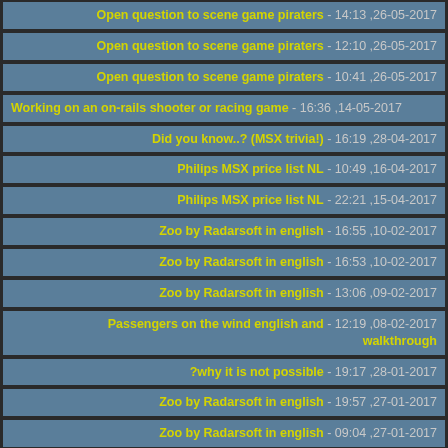Open question to scene game piraters - 14:13 ,26-05-2017
Open question to scene game piraters - 12:10 ,26-05-2017
Open question to scene game piraters - 10:41 ,26-05-2017
Working on an on-rails shooter or racing game - 16:36 ,14-05-2017
Did you know..? (MSX trivia!) - 16:19 ,28-04-2017
Philips MSX price list NL - 10:49 ,16-04-2017
Philips MSX price list NL - 22:21 ,15-04-2017
Zoo by Radarsoft in english - 16:55 ,10-02-2017
Zoo by Radarsoft in english - 16:53 ,10-02-2017
Zoo by Radarsoft in english - 13:06 ,09-02-2017
Passengers on the wind english and walkthrough - 12:19 ,08-02-2017
?why it is not possible - 19:17 ,28-01-2017
Zoo by Radarsoft in english - 19:57 ,27-01-2017
Zoo by Radarsoft in english - 09:04 ,27-01-2017
Zoo by Radarsoft in english - 10:33 ,26-01-2017